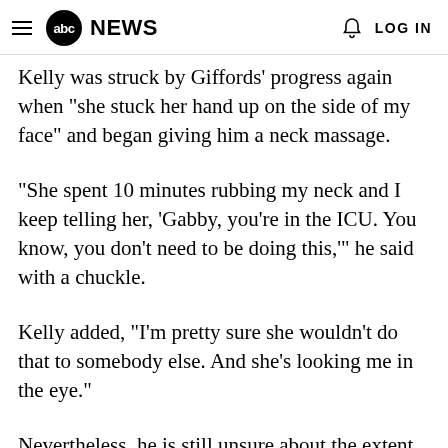abc NEWS  LOG IN
Kelly was struck by Giffords' progress again when "she stuck her hand up on the side of my face" and began giving him a neck massage.
"She spent 10 minutes rubbing my neck and I keep telling her, 'Gabby, you're in the ICU. You know, you don't need to be doing this,'" he said with a chuckle.
Kelly added, "I'm pretty sure she wouldn't do that to somebody else. And she's looking me in the eye."
Nevertheless, he is still unsure about the extent of her eventual recovery.